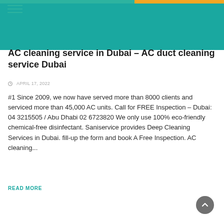AC cleaning service in Dubai – AC duct cleaning service Dubai
APRIL 17, 2022
#1 Since 2009, we now have served more than 8000 clients and serviced more than 45,000 AC units. Call for FREE Inspection – Dubai: 04 3215505 / Abu Dhabi 02 6723820 We only use 100% eco-friendly chemical-free disinfectant. Saniservice provides Deep Cleaning Services in Dubai. fill-up the form and book A Free Inspection. AC cleaning...
READ MORE